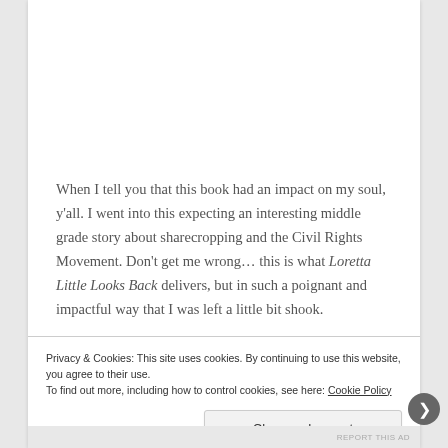When I tell you that this book had an impact on my soul, y'all. I went into this expecting an interesting middle grade story about sharecropping and the Civil Rights Movement. Don't get me wrong... this is what Loretta Little Looks Back delivers, but in such a poignant and impactful way that I was left a little bit shook.
Privacy & Cookies: This site uses cookies. By continuing to use this website, you agree to their use.
To find out more, including how to control cookies, see here: Cookie Policy